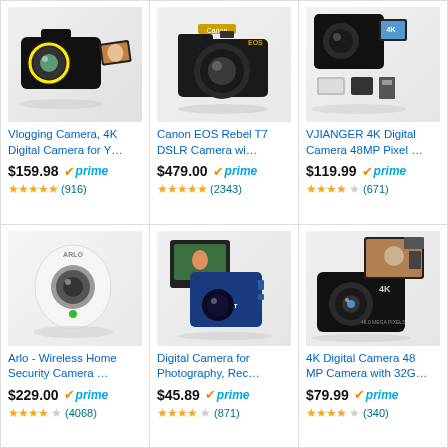[Figure (photo): Vlogging camera with flip screen showing woman's face, 4K digital camera]
Vlogging Camera, 4K Digital Camera for Y…
$159.98 ✓prime ★★★★★ (916)
[Figure (photo): Canon EOS Rebel T7 DSLR camera with lens]
Canon EOS Rebel T7 DSLR Camera wi…
$479.00 ✓prime ★★★★★ (2343)
[Figure (photo): VJIANGER 4K digital camera 48MP with SD card and accessories]
VJIANGER 4K Digital Camera 48MP Pixel …
$119.99 ✓prime ★★★★☆ (671)
[Figure (photo): Arlo wireless home security camera, white rounded device]
Arlo - Wireless Home Security Camera …
$229.00 ✓prime ★★★★☆ (4068)
[Figure (photo): iSMART blue digital camera for photography]
Digital Camera for Photography, Rec…
$45.89 ✓prime ★★★★☆ (871)
[Figure (photo): 4K Digital Camera 48 MP with 32G card and accessories]
4K Digital Camera 48 MP Camera with 32G…
$79.99 ✓prime ★★★★☆ (340)